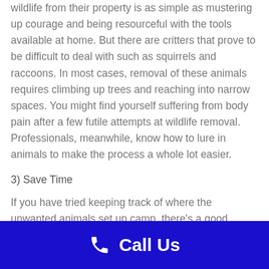wildlife from their property is as simple as mustering up courage and being resourceful with the tools available at home. But there are critters that prove to be difficult to deal with such as squirrels and raccoons. In most cases, removal of these animals requires climbing up trees and reaching into narrow spaces. You might find yourself suffering from body pain after a few futile attempts at wildlife removal. Professionals, meanwhile, know how to lure in animals to make the process a whole lot easier.
3) Save Time
If you have tried keeping track of where the unwanted animals set up camp, there's a good chance that you still have no idea...
Call Us